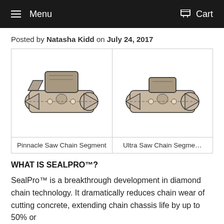Menu  Cart
Posted by Natasha Kidd on July 24, 2017
[Figure (photo): Side-by-side comparison table of two diamond saw chain segments: Pinnacle Saw Chain Segment (left) and Ultra Saw Chain Segment (right), showing metallic chain links with cutting teeth.]
WHAT IS SEALPRO™?
SealPro™ is a breakthrough development in diamond chain technology. It dramatically reduces chain wear of cutting concrete, extending chain chassis life by up to 50% or